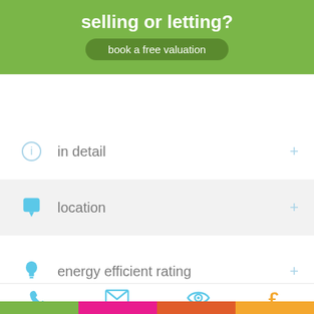[Figure (screenshot): Green banner with text 'selling or letting?' and a dark green rounded button 'book a free valuation']
in detail
location
energy efficient rating
[Figure (infographic): Bottom navigation bar with phone, email, eye/view, and pound sign icons, and coloured bottom bar strips]